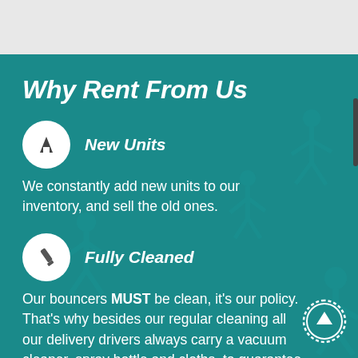Why Rent From Us
New Units
We constantly add new units to our inventory, and sell the old ones.
Fully Cleaned
Our bouncers MUST be clean, it's our policy. That's why besides our regular cleaning all our delivery drivers always carry a vacuum cleaner, spray bottle and cloths, to guarantee that the jumpers will be clean prior to use.